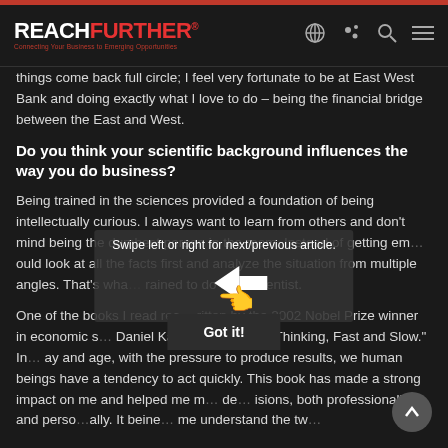REACHFURTHER® — Connecting Your Business to Emerging Opportunities
things come back full circle; I feel very fortunate to be at East West Bank and doing exactly what I love to do – being the financial bridge between the East and West.
Do you think your scientific background influences the way you do business?
Being trained in the sciences provided a foundation of being intellectually curious. I always want to learn from others and don't mind being the dumbest person in the room. Instead of getting em… ould look at all the facts first and analyze the situation from multiple angles. That's wha… rained to do as a scientist.
One of the books I read rec… ritten by the 2002 Nobel Prize winner in economic s… Daniel Kahneman, called "Thinking, Fast and Slow." In… ay and age, with the pressure to produce results, we human beings have a tendency to act quickly. This book has made a strong impact on me and helped me m… de… isions, both professionally and perso… ally. It beine… me understand the tw…
[Figure (screenshot): Swipe overlay with text 'Swipe left or right for next/previous article.' with a left arrow and pointing hand cursor icon]